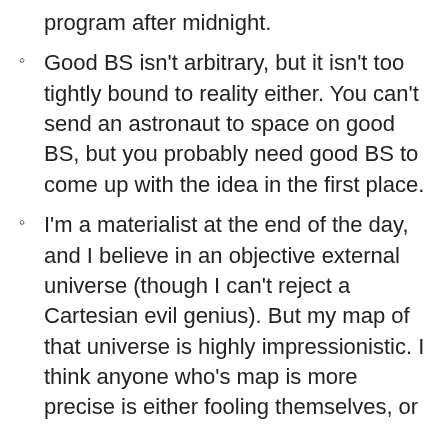program after midnight.
Good BS isn't arbitrary, but it isn't too tightly bound to reality either. You can't send an astronaut to space on good BS, but you probably need good BS to come up with the idea in the first place.
I'm a materialist at the end of the day, and I believe in an objective external universe (though I can't reject a Cartesian evil genius). But my map of that universe is highly impressionistic. I think anyone who's map is more precise is either fooling themselves, or